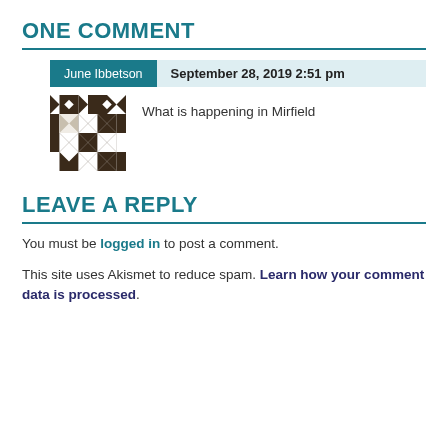ONE COMMENT
June Ibbetson   September 28, 2019 2:51 pm
What is happening in Mirfield
LEAVE A REPLY
You must be logged in to post a comment.
This site uses Akismet to reduce spam. Learn how your comment data is processed.